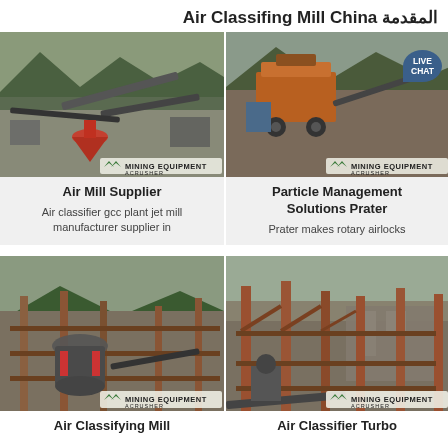Air Classifing Mill China المقدمة
[Figure (photo): Aerial view of mining/crushing equipment facility with conveyor belts and cone crusher]
Air Mill Supplier
Air classifier gcc plant jet mill manufacturer supplier in
[Figure (photo): Mobile crushing plant on mountainous terrain with industrial equipment and LIVE CHAT badge]
Particle Management Solutions Prater
Prater makes rotary airlocks
[Figure (photo): Industrial mill equipment with rust-colored structures and conveyor systems]
Air Classifying Mill
[Figure (photo): Large industrial facility interior with steel framework and conveyor belt systems]
Air Classifier Turbo